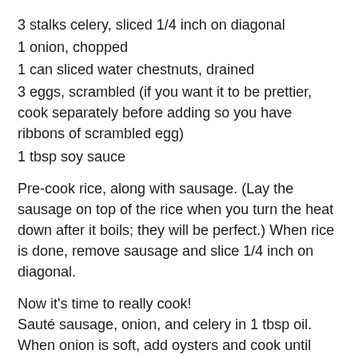3 stalks celery, sliced 1/4 inch on diagonal
1 onion, chopped
1 can sliced water chestnuts, drained
3 eggs, scrambled (if you want it to be prettier, cook separately before adding so you have ribbons of scrambled egg)
1 tbsp soy sauce
Pre-cook rice, along with sausage. (Lay the sausage on top of the rice when you turn the heat down after it boils; they will be perfect.) When rice is done, remove sausage and slice 1/4 inch on diagonal.
Now it's time to really cook!
Sauté sausage, onion, and celery in 1 tbsp oil. When onion is soft, add oysters and cook until they are just barely done (there will be a lot of moisture in the pan). Add